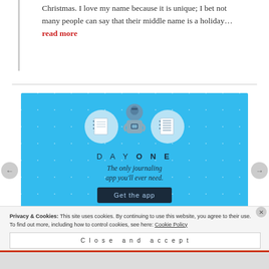Christmas. I love my name because it is unique; I bet not many people can say that their middle name is a holiday… read more
[Figure (illustration): Day One journaling app advertisement. Blue background with illustrated person holding a phone, flanked by notebook icons in circles. Text reads 'DAY ONE - The only journaling app you'll ever need.' with a 'Get the app' button.]
Privacy & Cookies: This site uses cookies. By continuing to use this website, you agree to their use.
To find out more, including how to control cookies, see here: Cookie Policy
Close and accept